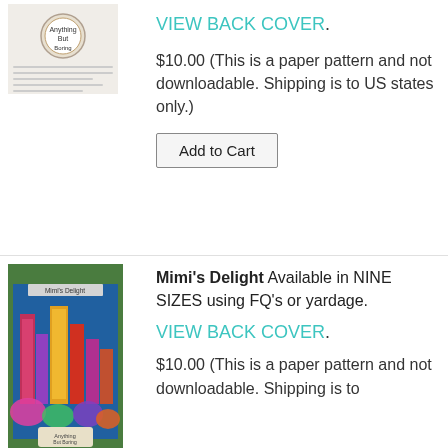[Figure (photo): Small product image showing a quilt pattern booklet with logo, top of page]
VIEW BACK COVER.
$10.00 (This is a paper pattern and not downloadable. Shipping is to US states only.)
Add to Cart
[Figure (photo): Photo of a colorful cityscape quilt titled Mimi's Delight, hanging outdoors]
Mimi's Delight Available in NINE SIZES using FQ's or yardage.
VIEW BACK COVER.
$10.00 (This is a paper pattern and not downloadable. Shipping is to